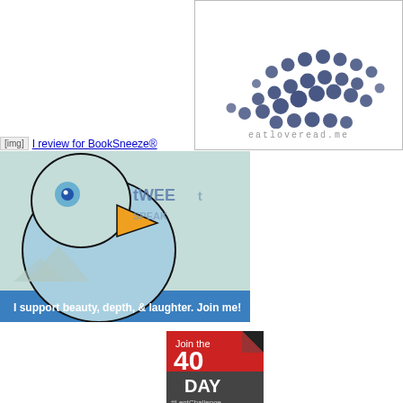[Figure (logo): eatloveread.me logo with blue dot pattern and handwritten-style text 'eatloveread.me']
[Figure (illustration): I review for BookSneeze® badge - blue link text with small image placeholder]
[Figure (illustration): tWEEtSPEAK banner with illustrated bird and text 'I support beauty, depth, & laughter. Join me!']
[Figure (illustration): Join the 40 DAY #LentChallenge badge with red and dark gray sections]